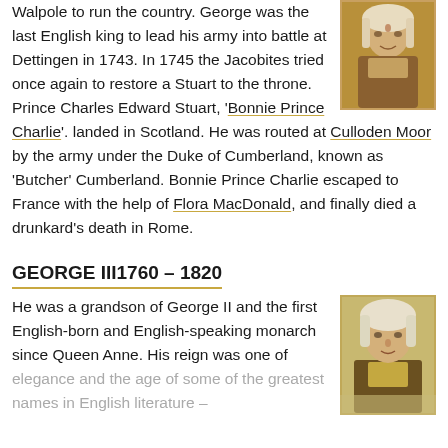Walpole to run the country. George was the last English king to lead his army into battle at Dettingen in 1743. In 1745 the Jacobites tried once again to restore a Stuart to the throne. Prince Charles Edward Stuart, 'Bonnie Prince Charlie'. landed in Scotland. He was routed at Culloden Moor by the army under the Duke of Cumberland, known as 'Butcher' Cumberland. Bonnie Prince Charlie escaped to France with the help of Flora MacDonald, and finally died a drunkard's death in Rome.
[Figure (photo): Portrait painting of George II, showing upper body in ornate dress]
GEORGE III1760 – 1820
He was a grandson of George II and the first English-born and English-speaking monarch since Queen Anne. His reign was one of elegance and the age of some of the greatest names in English literature –
[Figure (photo): Portrait painting of George III, showing face and upper body]